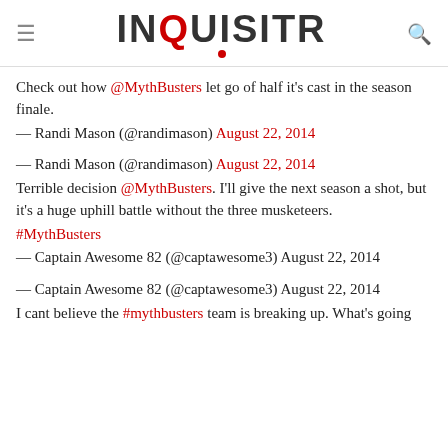INQUISITR
Check out how @MythBusters let go of half it's cast in the season finale.
— Randi Mason (@randimason) August 22, 2014
— Randi Mason (@randimason) August 22, 2014
Terrible decision @MythBusters. I'll give the next season a shot, but it's a huge uphill battle without the three musketeers. #MythBusters
— Captain Awesome 82 (@captawesome3) August 22, 2014
— Captain Awesome 82 (@captawesome3) August 22, 2014
I cant believe the #mythbusters team is breaking up. What's going